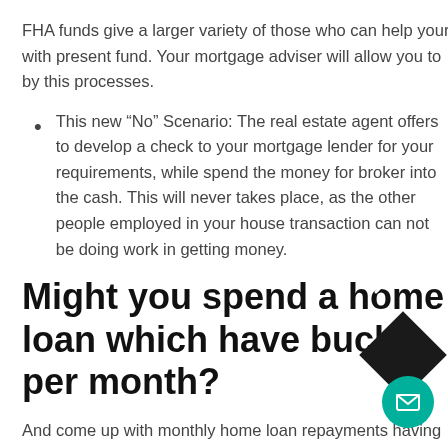FHA funds give a larger variety of those who can help your with present fund. Your mortgage adviser will allow you to by this processes.
This new “No” Scenario: The real estate agent offers to develop a check to your mortgage lender for your requirements, while spend the money for broker into the cash. This will never takes place, as the other people employed in your house transaction can not be doing work in getting money.
Might you spend a home loan which have bucks per month?
And come up with monthly home loan repayments having cash is basically unheard of. People generate payments from the automatic lead distributions off their checking